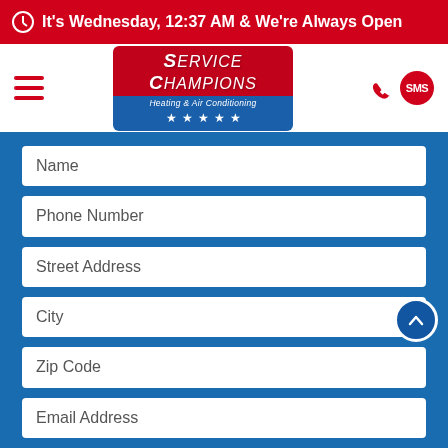It's Wednesday, 12:37 AM & We're Always Open
[Figure (logo): Service Champions Heating & Air Conditioning logo with red and blue background and five stars]
Name
Phone Number
Street Address
City
Zip Code
Email Address